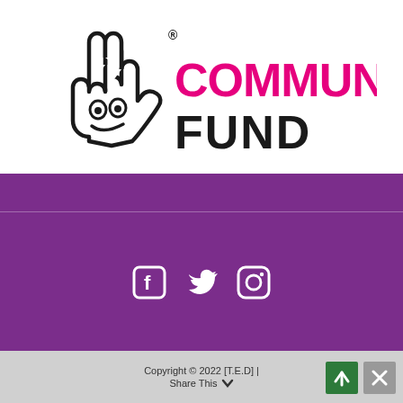[Figure (logo): National Lottery Community Fund logo — crossed fingers hand icon in black outline with googly eyes, next to 'COMMUNITY FUND' text where COMMUNITY is in pink/magenta and FUND is in dark/black, with a registered trademark symbol after the hand]
[Figure (infographic): Social media icons: Facebook, Twitter, Instagram — white icons on purple background]
Copyright © 2022 [T.E.D] |
Share This ∨
[Figure (other): Green back-to-top button with upward arrow]